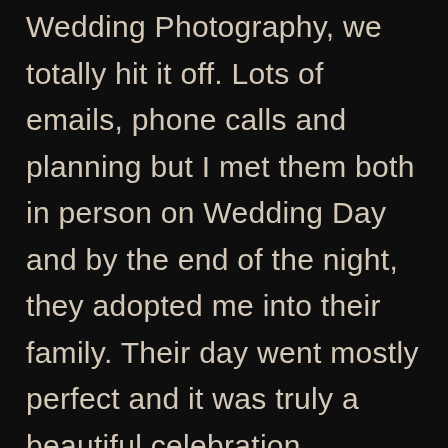Wedding Photography, we totally hit it off. Lots of emails, phone calls and planning but I met them both in person on Wedding Day and by the end of the night, they adopted me into their family. Their day went mostly perfect and it was truly a beautiful celebration surrounded by their best people. From the DIY decor, to the quick trip to Publix for snacks to the ridiculous fun on the dance floor. I loved documenting this special day. So excited to check off “Wedding at a Brewery” from my Wedding Bucket list!

Here are a few of my favorite images from